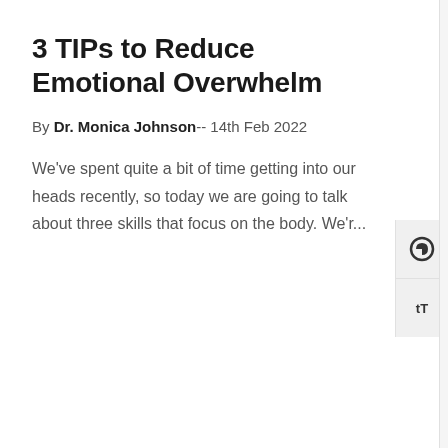3 TIPs to Reduce Emotional Overwhelm
By Dr. Monica Johnson-- 14th Feb 2022
We've spent quite a bit of time getting into our heads recently, so today we are going to talk about three skills that focus on the body. We'r...